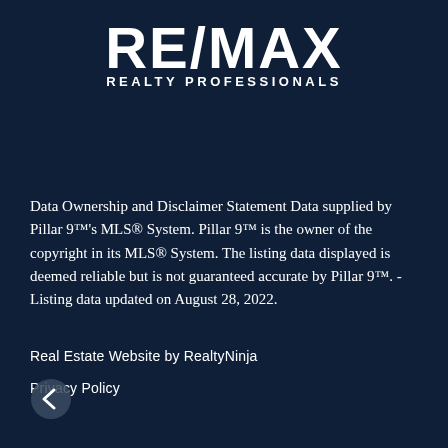[Figure (logo): RE/MAX Realty Professionals logo — white bold RE/MAX text with slash, subtitle REALTY PROFESSIONALS in white caps]
Data Ownership and Disclaimer Statement Data supplied by Pillar 9™'s MLS® System. Pillar 9™ is the owner of the copyright in its MLS® System. The listing data displayed is deemed reliable but is not guaranteed accurate by Pillar 9™. - Listing data updated on August 28, 2022.
Real Estate Website by RealtyNinja
Privacy Policy